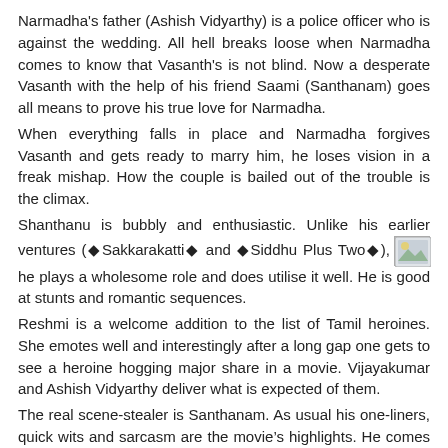Narmadha's father (Ashish Vidyarthy) is a police officer who is against the wedding. All hell breaks loose when Narmadha comes to know that Vasanth's is not blind. Now a desperate Vasanth with the help of his friend Saami (Santhanam) goes all means to prove his true love for Narmadha.
When everything falls in place and Narmadha forgives Vasanth and gets ready to marry him, he loses vision in a freak mishap. How the couple is bailed out of the trouble is the climax.
Shanthanu is bubbly and enthusiastic. Unlike his earlier ventures (◆Sakkarakatti◆ and ◆Siddhu Plus Two◆), he plays a wholesome role and does utilise it well. He is good at stunts and romantic sequences.
Reshmi is a welcome addition to the list of Tamil heroines. She emotes well and interestingly after a long gap one gets to see a heroine hogging major share in a movie. Vijayakumar and Ashish Vidyarthy deliver what is expected of them.
The real scene-stealer is Santhanam. As usual his one-liners, quick wits and sarcasm are the movie's highlights. He comes all through the second half and adds pep to the proceedings.